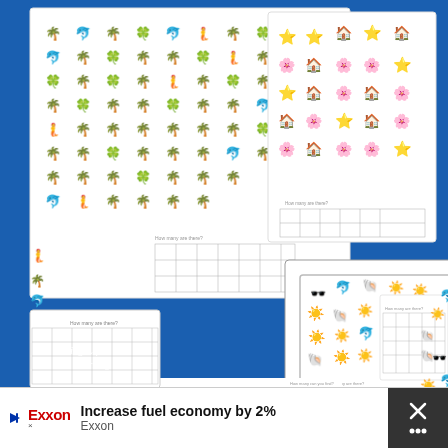[Figure (photo): Photo of colorful educational counting worksheets with summer-themed stickers (dolphins, palm trees, suns, shells, sunglasses, stars, flowers, beach huts) on a blue background. Left side shows heart button and '676' like count. Bottom left corner shows 'Living Life and Learning' watermark.]
[Figure (infographic): Advertisement banner at bottom: Exxon logo on left, 'Increase fuel economy by 2%' bold text, 'Exxon' subtext, blue directional arrow icon. Right side has dark close button with X and dots icons.]